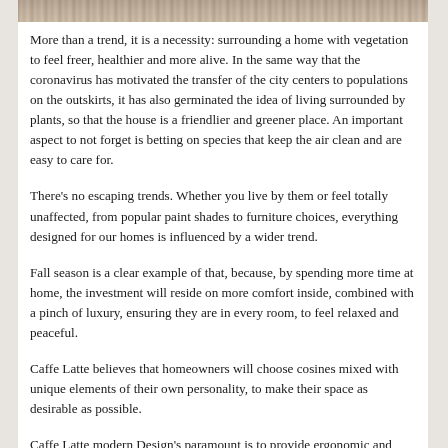[Figure (photo): Partial view of an outdoor/nature photograph strip at the top of the page, showing vegetation or natural textures in earthy tones]
More than a trend, it is a necessity: surrounding a home with vegetation to feel freer, healthier and more alive. In the same way that the coronavirus has motivated the transfer of the city centers to populations on the outskirts, it has also germinated the idea of living surrounded by plants, so that the house is a friendlier and greener place. An important aspect to not forget is betting on species that keep the air clean and are easy to care for.
There’s no escaping trends. Whether you live by them or feel totally unaffected, from popular paint shades to furniture choices, everything designed for our homes is influenced by a wider trend.
Fall season is a clear example of that, because, by spending more time at home, the investment will reside on more comfort inside, combined with a pinch of luxury, ensuring they are in every room, to feel relaxed and peaceful.
Caffe Latte believes that homeowners will choose cosines mixed with unique elements of their own personality, to make their space as desirable as possible.
Caffe Latte modern Design’s paramount is to provide ergonomic and functionality to any room, with a modern minimalist approach. Complementing other designs aesthetics